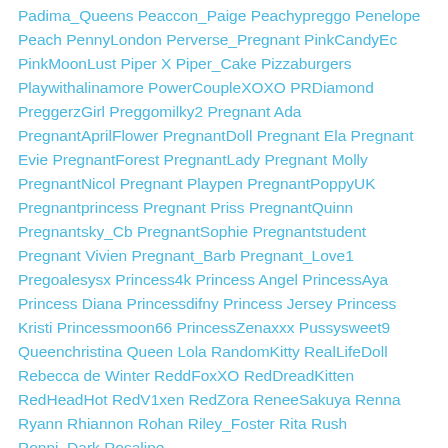Padima_Queens Peaccon_Paige Peachypreggo Penelope Peach PennyLondon Perverse_Pregnant PinkCandyEc PinkMoonLust Piper X Piper_Cake Pizzaburgers Playwithalinamore PowerCoupleXOXO PRDiamond PreggerzGirl Preggomilky2 Pregnant Ada PregnantAprilFlower PregnantDoll Pregnant Ela Pregnant Evie PregnantForest PregnantLady Pregnant Molly PregnantNicol Pregnant Playpen PregnantPoppyUK Pregnantprincess Pregnant Priss PregnantQuinn Pregnantsky_Cb PregnantSophie Pregnantstudent Pregnant Vivien Pregnant_Barb Pregnant_Love1 Pregoalesysx Princess4k Princess Angel PrincessAya Princess Diana Princessdifny Princess Jersey Princess Kristi Princessmoon66 PrincessZenaxxx Pussysweet9 Queenchristina Queen Lola RandomKitty RealLifeDoll Rebecca de Winter ReddFoxXO RedDreadKitten RedHeadHot RedV1xen RedZora ReneeSakuya Renna Ryann Rhiannon Rohan Riley_Foster Rita Rush Ronni_Dark Rosaline